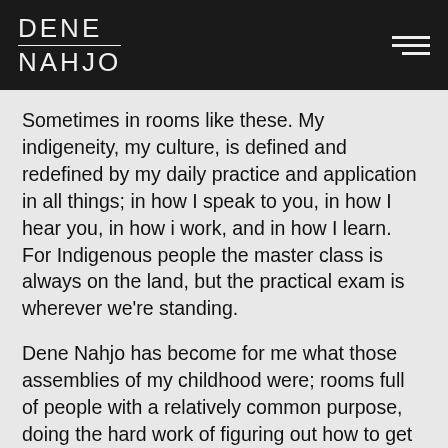DENE NAHJO
Sometimes in rooms like these. My indigeneity, my culture, is defined and redefined by my daily practice and application in all things; in how I speak to you, in how I hear you, in how i work, and in how I learn. For Indigenous people the master class is always on the land, but the practical exam is wherever we’re standing.
Dene Nahjo has become for me what those assemblies of my childhood were; rooms full of people with a relatively common purpose, doing the hard work of figuring out how to get there and how to support each other on the journey. But those rooms don’t come with interpreters